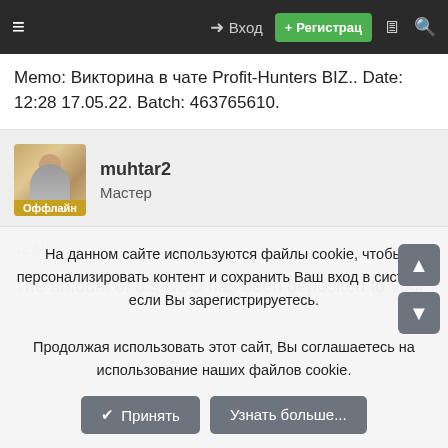≡  → Вход  + Регистрац  🗏  🔍
Memo: Викторина в чате Profit-Hunters BIZ.. Date: 12:28 17.05.22. Batch: 463765610.
muhtar2
Мастер
Оффлайн
18 Май 2022   #16,859
The amount of 0.5 USD has been deposited to your
На данном сайте используются файлы cookie, чтобы персонализировать контент и сохранить Ваш вход в систему, если Вы зарегистрируетесь.
Продолжая использовать этот сайт, Вы соглашаетесь на использование наших файлов cookie.
✔ Принять   Узнать больше...